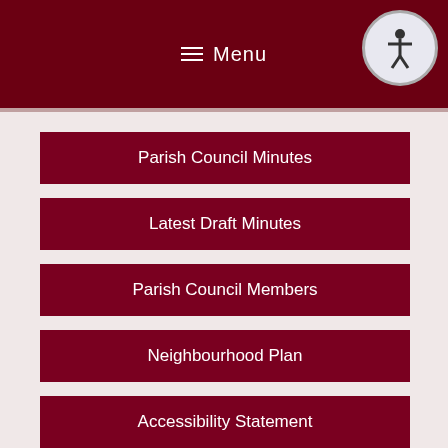≡ Menu
Parish Council Minutes
Latest Draft Minutes
Parish Council Members
Neighbourhood Plan
Accessibility Statement
Search this website
Search